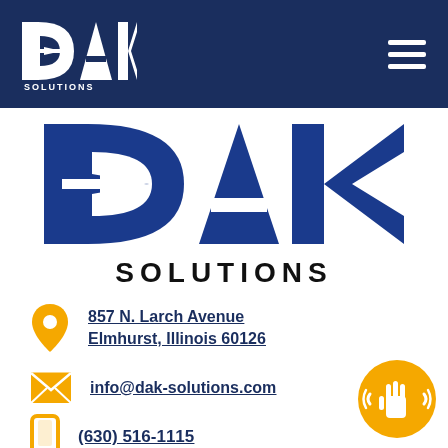DAK Solutions header navigation
[Figure (logo): DAK Solutions large logo with blue lettering and arrow through D]
857 N. Larch Avenue Elmhurst, Illinois 60126
info@dak-solutions.com
(630) 516-1115